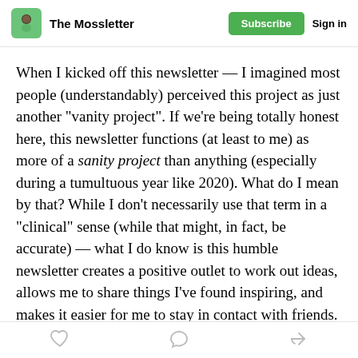The Mossletter | Subscribe | Sign in
When I kicked off this newsletter — I imagined most people (understandably) perceived this project as just another “vanity project”. If we’re being totally honest here, this newsletter functions (at least to me) as more of a sanity project than anything (especially during a tumultuous year like 2020). What do I mean by that? While I don’t necessarily use that term in a “clinical” sense (while that might, in fact, be accurate) — what I do know is this humble newsletter creates a positive outlet to work out ideas, allows me to share things I’ve found inspiring, and makes it easier for me to stay in contact with friends.
like | comment | share